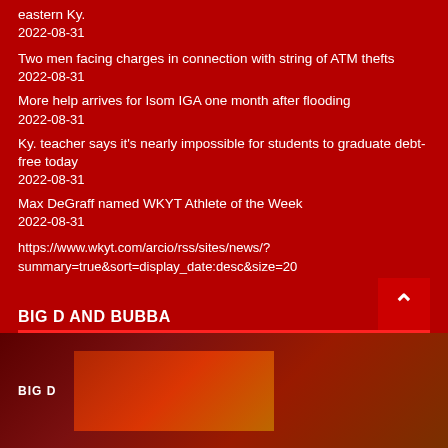eastern Ky.
2022-08-31
Two men facing charges in connection with string of ATM thefts
2022-08-31
More help arrives for Isom IGA one month after flooding
2022-08-31
Ky. teacher says it's nearly impossible for students to graduate debt-free today
2022-08-31
Max DeGraff named WKYT Athlete of the Week
2022-08-31
https://www.wkyt.com/arcio/rss/sites/news/?summary=true&sort=display_date:desc&size=20
BIG D AND BUBBA
[Figure (photo): Bottom banner showing BIG D AND BUBBA branding with partial photo]